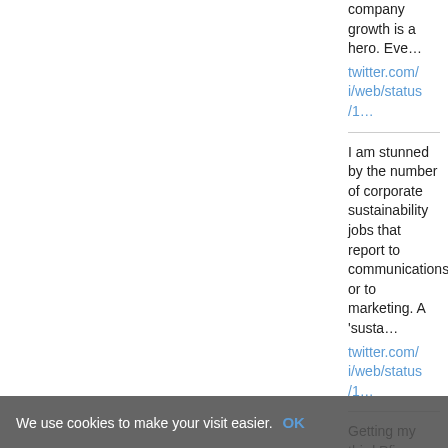company growth is a hero. Eve…
twitter.com/i/web/status/1…
I am stunned by the number of corporate sustainability jobs that report to communications or to marketing. A 'susta…
twitter.com/i/web/status/1…
Getting my third Pfizer dose
We use cookies to make your visit easier. OK